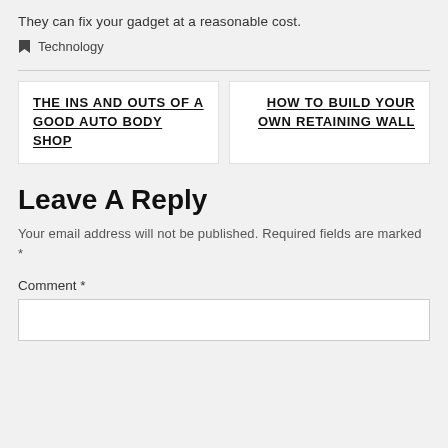They can fix your gadget at a reasonable cost.
Technology
THE INS AND OUTS OF A GOOD AUTO BODY SHOP
HOW TO BUILD YOUR OWN RETAINING WALL
Leave A Reply
Your email address will not be published. Required fields are marked *
Comment *